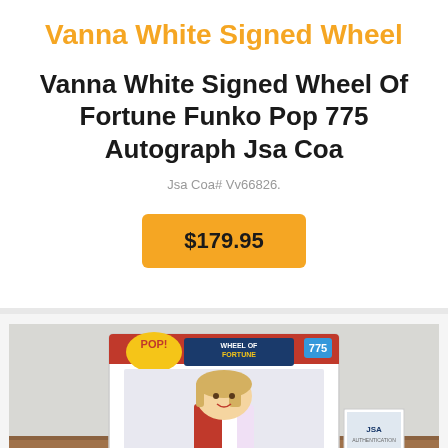Vanna White Signed Wheel
Vanna White Signed Wheel Of Fortune Funko Pop 775 Autograph Jsa Coa
Jsa Coa# Vv66826.
$179.95
[Figure (photo): Photo of Vanna White Wheel of Fortune Funko Pop #775 in box on a wooden surface, with JSA autograph card visible beside it.]